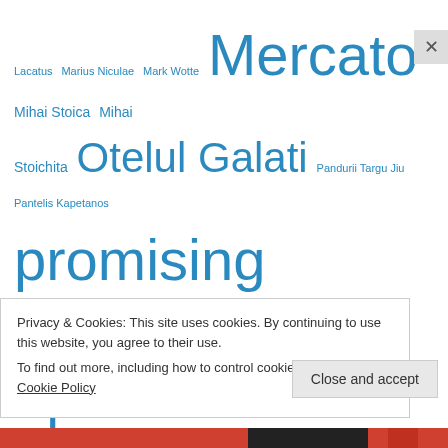[Figure (infographic): Tag cloud of Romanian football related terms in varying sizes and shades of blue, including: Lacatus, Marius Niculae, Mark Wotte, Mercato, Mihai Stoica, Mihai Stoichita, Otelul Galati, Pandurii Targu Jiu, Pantelis Kapetanos, promising Romanian players, Rapid Bucharest, Razvan Lucescu, Romania, Romania's national team, Romania national team, Romanian football, Romanian football blog, Romanian football clubs, Romanian football news, Romanian football players, Romanian players abroad, scouting, Scouting report, Steaua Bucharest, title contenders, title contenders in Romania, top players in Romania, top Romanian players, top]
Privacy & Cookies: This site uses cookies. By continuing to use this website, you agree to their use. To find out more, including how to control cookies, see here: Cookie Policy
Close and accept